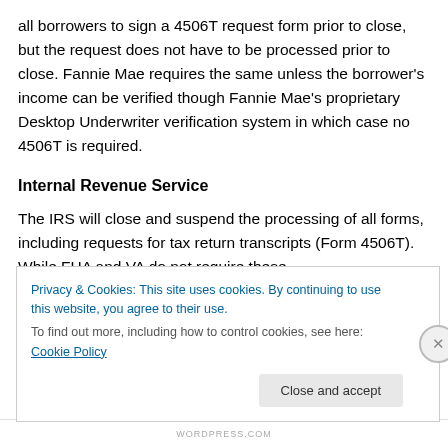all borrowers to sign a 4506T request form prior to close, but the request does not have to be processed prior to close. Fannie Mae requires the same unless the borrower's income can be verified though Fannie Mae's proprietary Desktop Underwriter verification system in which case no 4506T is required.
Internal Revenue Service
The IRS will close and suspend the processing of all forms, including requests for tax return transcripts (Form 4506T). While FHA and VA do not require these
Privacy & Cookies: This site uses cookies. By continuing to use this website, you agree to their use.
To find out more, including how to control cookies, see here: Cookie Policy